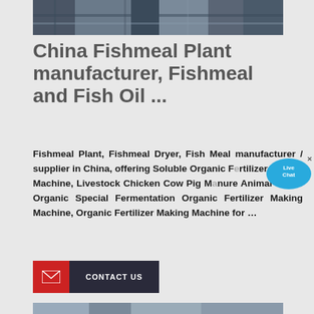[Figure (photo): Top portion of industrial fishmeal plant machinery, showing metal equipment in blue/grey tones]
China Fishmeal Plant manufacturer, Fishmeal and Fish Oil ...
Fishmeal Plant, Fishmeal Dryer, Fish Meal manufacturer / supplier in China, offering Soluble Organic Fertilizer Making Machine, Livestock Chicken Cow Pig Manure Animal Waste Organic Special Fermentation Organic Fertilizer Making Machine, Organic Fertilizer Making Machine for …
[Figure (other): Live Chat bubble overlay in blue]
[Figure (other): Contact Us button with red mail icon and dark background]
[Figure (photo): Bottom portion of industrial fishmeal plant exterior showing machinery and conveyor systems outdoors]